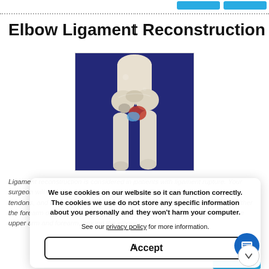Elbow Ligament Reconstruction
[Figure (illustration): Medical illustration of elbow joint anatomy showing ligament reconstruction with bone structures visible against a dark blue background. Highlights show tendons and ligament repair area in red/blue.]
Ligament reconstruction is considered in patients with ligament rupture. Your surgeon will make an incision over the elbow. Care is taken to move muscles, tendons, and nerves out of the way. The donor's tendon is harvested from either the forearm or below the knee. Your surgeon drills holes into the bones of the upper arm and forearm, around the elbow
We use cookies on our website so it can function correctly. The cookies we use do not store any specific information about you personally and they won't harm your computer.
See our privacy policy for more information.
Accept